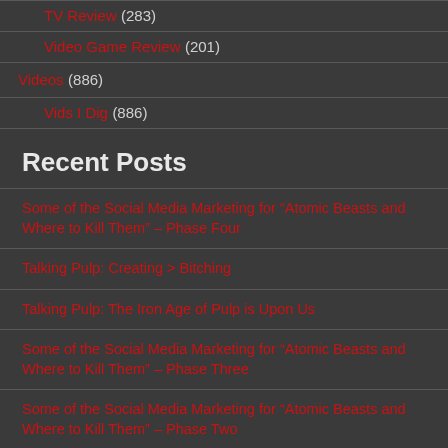TV Review (283)
Video Game Review (201)
Videos (886)
Vids I Dig (886)
Recent Posts
Some of the Social Media Marketing for “Atomic Beasts and Where to Kill Them” – Phase Four
Talking Pulp: Creating > Bitching
Talking Pulp: The Iron Age of Pulp is Upon Us
Some of the Social Media Marketing for “Atomic Beasts and Where to Kill Them” – Phase Three
Some of the Social Media Marketing for “Atomic Beasts and Where to Kill Them” – Phase Two